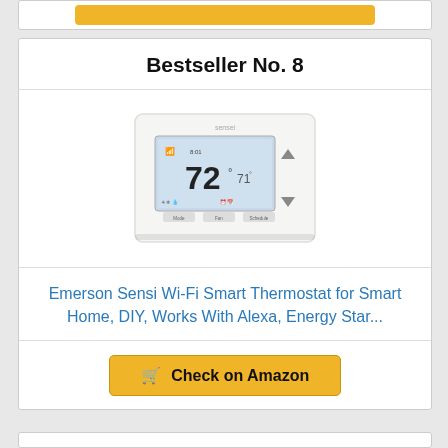Bestseller No. 8
[Figure (photo): Emerson Sensi Wi-Fi Smart Thermostat device showing digital display with temperature reading of 72 degrees]
Emerson Sensi Wi-Fi Smart Thermostat for Smart Home, DIY, Works With Alexa, Energy Star...
🛒 Check on Amazon